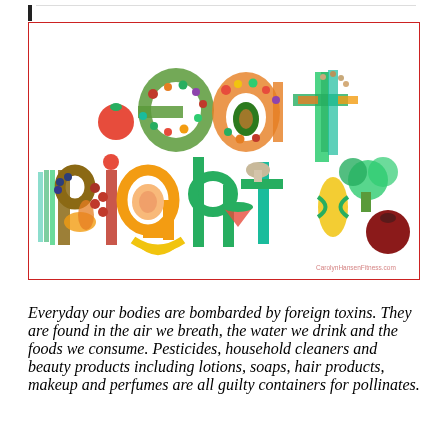[Figure (illustration): Colorful illustration of the words 'eat right.' spelled out using various fruits and vegetables arranged to form the letter shapes. The word 'eat' is on the top row and 'right.' is on the bottom row. A watermark reads 'CarolynHansenFitness.com'. The image is framed with a thin red border.]
Everyday our bodies are bombarded by foreign toxins. They are found in the air we breath, the water we drink and the foods we consume. Pesticides, household cleaners and beauty products including lotions, soaps, hair products, makeup and perfumes are all guilty containers for pollinates.